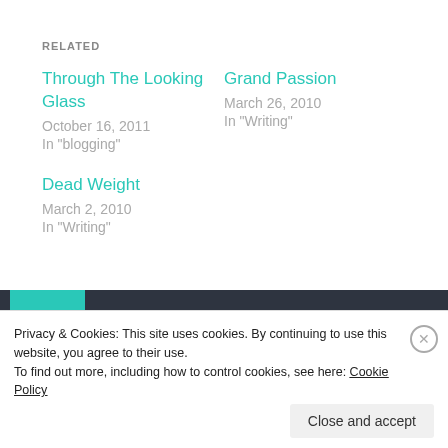RELATED
Through The Looking Glass
October 16, 2011
In "blogging"
Grand Passion
March 26, 2010
In "Writing"
Dead Weight
March 2, 2010
In "Writing"
[Figure (illustration): Dark header bar with teal/green avatar block showing partial face silhouette and white bold text beginning 'Published by Selma']
Privacy & Cookies: This site uses cookies. By continuing to use this website, you agree to their use.
To find out more, including how to control cookies, see here: Cookie Policy
Close and accept